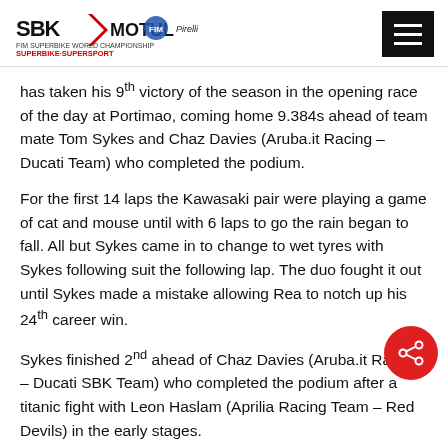SBK Motul FIM Superbike World Championship — Superbike Supersport
has taken his 9th victory of the season in the opening race of the day at Portimao, coming home 9.384s ahead of team mate Tom Sykes and Chaz Davies (Aruba.it Racing – Ducati Team) who completed the podium.
For the first 14 laps the Kawasaki pair were playing a game of cat and mouse until with 6 laps to go the rain began to fall. All but Sykes came in to change to wet tyres with Sykes following suit the following lap. The duo fought it out until Sykes made a mistake allowing Rea to notch up his 24th career win.
Sykes finished 2nd ahead of Chaz Davies (Aruba.it Racing – Ducati SBK Team) who completed the podium after a titanic fight with Leon Haslam (Aprilia Racing Team – Red Devils) in the early stages.
Davide Giugliano (Aruba.it Racing – Ducati SBK Team)